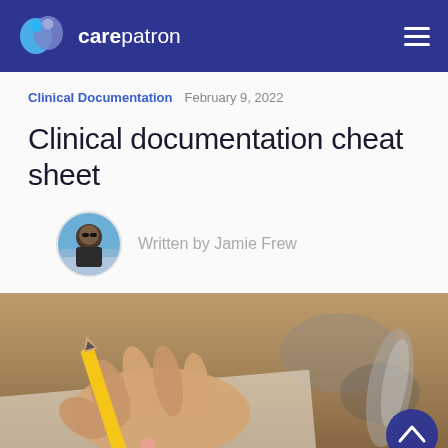carepatron
Clinical Documentation  February 9, 2022
Clinical documentation cheat sheet
Written by Jamie Frew
[Figure (photo): Close-up photo of a hand holding a yellow pencil, writing on paper, with a blurred background]